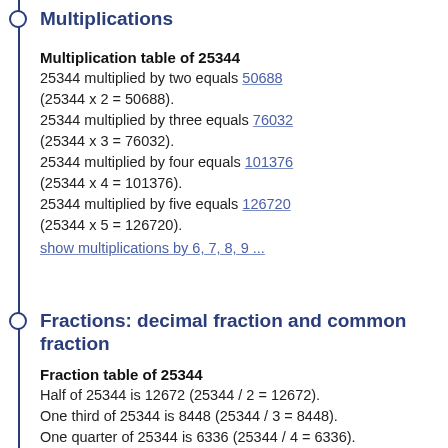Multiplications
Multiplication table of 25344
25344 multiplied by two equals 50688 (25344 x 2 = 50688).
25344 multiplied by three equals 76032 (25344 x 3 = 76032).
25344 multiplied by four equals 101376 (25344 x 4 = 101376).
25344 multiplied by five equals 126720 (25344 x 5 = 126720).
show multiplications by 6, 7, 8, 9 ...
Fractions: decimal fraction and common fraction
Fraction table of 25344
Half of 25344 is 12672 (25344 / 2 = 12672).
One third of 25344 is 8448 (25344 / 3 = 8448).
One quarter of 25344 is 6336 (25344 / 4 = 6336).